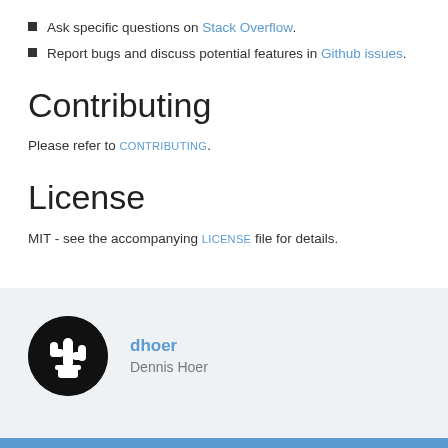Ask specific questions on Stack Overflow.
Report bugs and discuss potential features in Github issues.
Contributing
Please refer to CONTRIBUTING.
License
MIT - see the accompanying LICENSE file for details.
[Figure (illustration): Circular black avatar with white cactus icon for contributor dhoer]
dhoer
Dennis Hoer